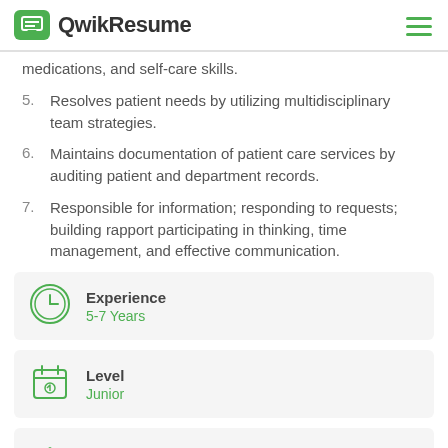QwikResume
medications, and self-care skills.
5. Resolves patient needs by utilizing multidisciplinary team strategies.
6. Maintains documentation of patient care services by auditing patient and department records.
7. Responsible for information; responding to requests; building rapport participating in thinking, time management, and effective communication.
Experience
5-7 Years
Level
Junior
Education
BS